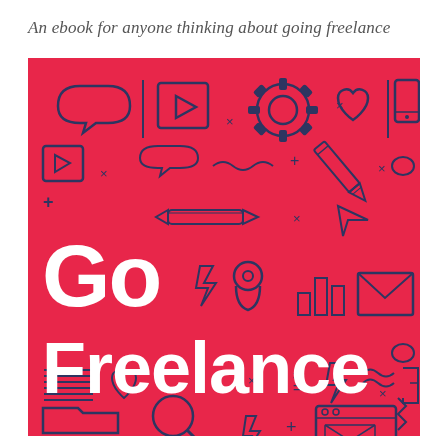An ebook for anyone thinking about going freelance
[Figure (illustration): Red cover image with dark navy line-art icons (chat bubble, video play button, gear/cog, heart, mobile phone, pencil, speech bubbles, wavy lines, arrows, lightning bolt, location pin, bar chart, envelope, magnifying glass, folder, briefcase/toolbox, browser window, and other decorative symbols) on a red/crimson background, with large white bold text reading 'Go Freelance']